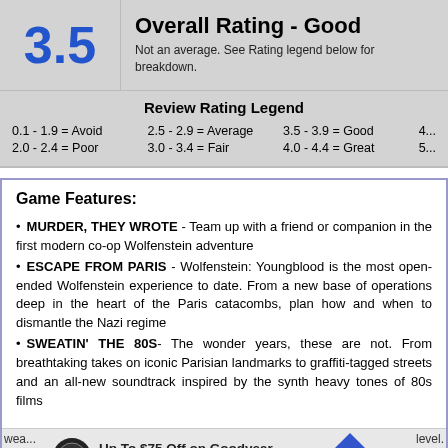Overall Rating - Good
3.5
Not an average. See Rating legend below for breakdown.
Review Rating Legend
0.1 - 1.9 = Avoid   2.5 - 2.9 = Average   3.5 - 3.9 = Good   4...
2.0 - 2.4 = Poor    3.0 - 3.4 = Fair      4.0 - 4.4 = Great   5...
Game Features:
MURDER, THEY WROTE - Team up with a friend or companion in the first modern co-op Wolfenstein adventure
ESCAPE FROM PARIS - Wolfenstein: Youngblood is the most open-ended Wolfenstein experience to date. From a new base of operations deep in the heart of the Paris catacombs, plan how and when to dismantle the Nazi regime
SWEATIN' THE 80S- The wonder years, these are not. From breathtaking takes on iconic Parisian landmarks to graffiti-tagged streets and an all-new soundtrack inspired by the synth heavy tones of 80s films
Up To $75 Off on Goodyear Tires at Virginia Tire & Auto